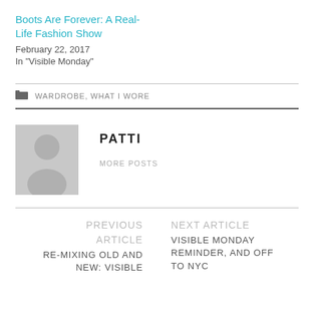Boots Are Forever: A Real-Life Fashion Show
February 22, 2017
In "Visible Monday"
WARDROBE, WHAT I WORE
[Figure (illustration): Generic user avatar placeholder — grey square with silhouette of a person (circle head, body shape)]
PATTI
MORE POSTS
PREVIOUS ARTICLE
RE-MIXING OLD AND NEW: VISIBLE
NEXT ARTICLE
VISIBLE MONDAY REMINDER, AND OFF TO NYC